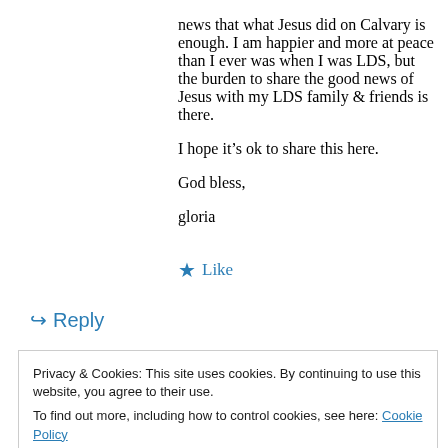news that what Jesus did on Calvary is enough. I am happier and more at peace than I ever was when I was LDS, but the burden to share the good news of Jesus with my LDS family & friends is there.
I hope it’s ok to share this here.
God bless,
gloria
★ Like
↪ Reply
Privacy & Cookies: This site uses cookies. By continuing to use this website, you agree to their use.
To find out more, including how to control cookies, see here: Cookie Policy
Close and accept